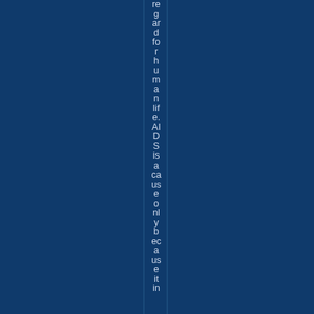regard for human life. AIDS is a cause only because it i...